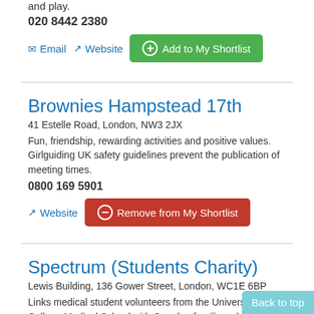and play.
020 8442 2380
Email | Website | Add to My Shortlist
Brownies Hampstead 17th
41 Estelle Road, London, NW3 2JX
Fun, friendship, rewarding activities and positive values. Girlguiding UK safety guidelines prevent the publication of meeting times.
0800 169 5901
Website | Remove from My Shortlist
Spectrum (Students Charity)
Lewis Building, 136 Gower Street, London, WC1E 6BP
Links medical student volunteers from the University College Medical School with Camden families who